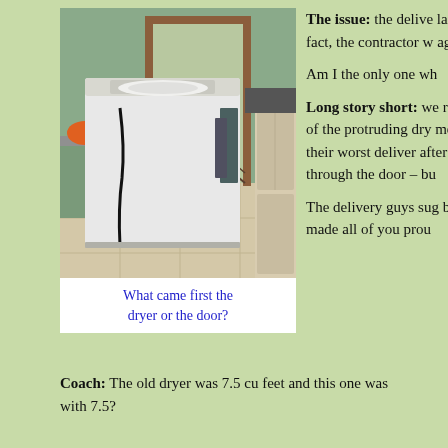[Figure (photo): Photo of a white top-loading dryer/washer in a laundry room, positioned in front of a doorway. The appliance appears to be blocking or just fitting through the door opening. Light tile floor visible, kitchen cabinetry on the right side, and a wooden door frame in the background.]
What came first the dryer or the door?
The issue:  the delivery laundry room door. A fact, the contractor w ago most likely instal
Am I the only one wh
Long story short:  we removed part of the d of the protruding dry men stood and stared as their worst deliver after we mangled it, t through the door - bu
The delivery guys sug back to the store and I made all of you prou
Coach: The old dryer was 7.5 cu feet and this one was with 7.5?